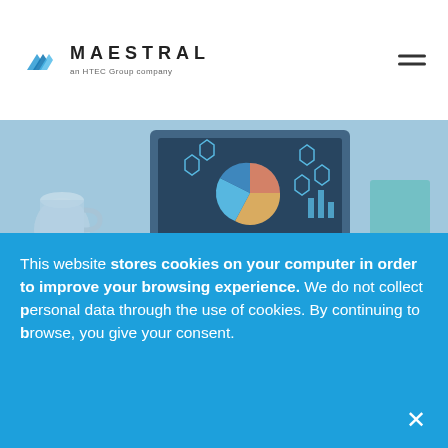MAESTRAL — an HTEC Group company
[Figure (photo): Hero image showing a tablet/monitor displaying a data analytics dashboard with pie chart, hexagonal icons, bar charts. Office background with coffee mug and notebook visible.]
Team and Process
Why Discovery
This website stores cookies on your computer in order to improve your browsing experience. We do not collect personal data through the use of cookies. By continuing to browse, you give your consent.